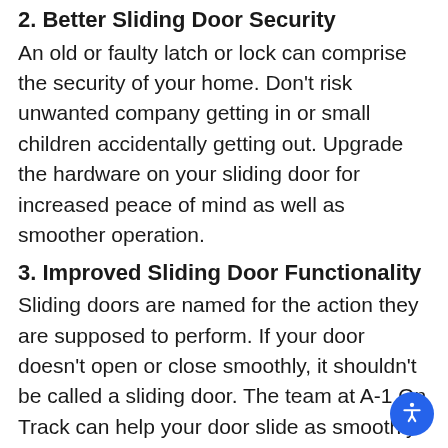2. Better Sliding Door Security
An old or faulty latch or lock can comprise the security of your home. Don’t risk unwanted company getting in or small children accidentally getting out. Upgrade the hardware on your sliding door for increased peace of mind as well as smoother operation.
3. Improved Sliding Door Functionality
Sliding doors are named for the action they are supposed to perform. If your door doesn’t open or close smoothly, it shouldn’t be called a sliding door. The team at A-1 On Track can help your door slide as smoothly as possible. We work on all types of sliding doors, including: